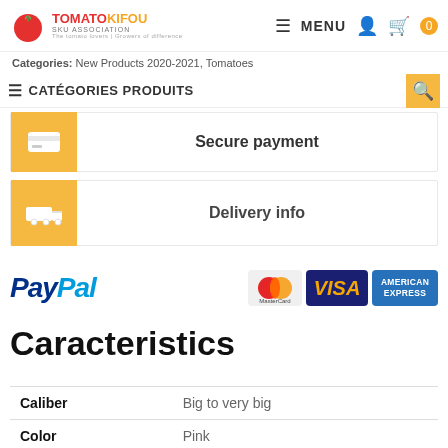TomatoKifou SKU ASSOCIATION — MENU
Categories: New Products 2020-2021, Tomatoes
CATÉGORIES PRODUITS
Secure payment
Delivery info
[Figure (logo): Payment logos: PayPal, MasterCard, VISA, American Express]
Caracteristics
|  |  |
| --- | --- |
| Caliber | Big to very big |
| Color | Pink |